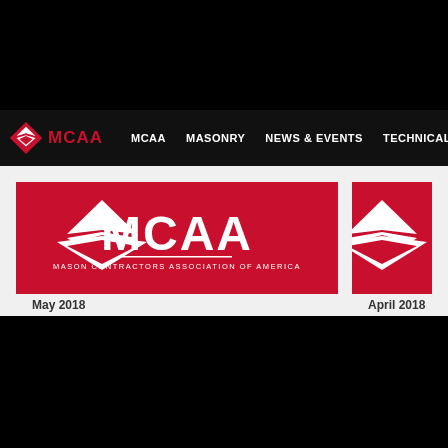[Figure (screenshot): MCAA website screenshot showing navigation bar with logo, menu items (MCAA, MASONRY, NEWS & EVENTS, TECHNICAL, ADVO...), and two red MCAA logo banner cards below]
May 2018
April 2018